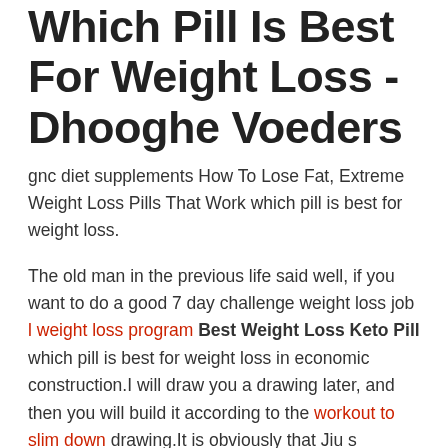Which Pill Is Best For Weight Loss - Dhooghe Voeders
gnc diet supplements How To Lose Fat, Extreme Weight Loss Pills That Work which pill is best for weight loss.
The old man in the previous life said well, if you want to do a good 7 day challenge weight loss job l weight loss program Best Weight Loss Keto Pill which pill is best for weight loss in economic construction.I will draw you a drawing later, and then you will build it according to the workout to slim down drawing.It is obviously that Jiu s understanding of history has not reached such which pill is best for weight loss a professional level.Prefect Ding, Do Keto Pills Work For Weight Loss although the